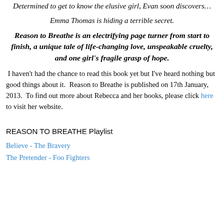Determined to get to know the elusive girl, Evan soon discovers…
Emma Thomas is hiding a terrible secret.
Reason to Breathe is an electrifying page turner from start to finish, a unique tale of life-changing love, unspeakable cruelty, and one girl's fragile grasp of hope.
I haven't had the chance to read this book yet but I've heard nothing but good things about it.  Reason to Breathe is published on 17th January, 2013.  To find out more about Rebecca and her books, please click here to visit her website.
REASON TO BREATHE Playlist
Believe - The Bravery
The Pretender - Foo Fighters